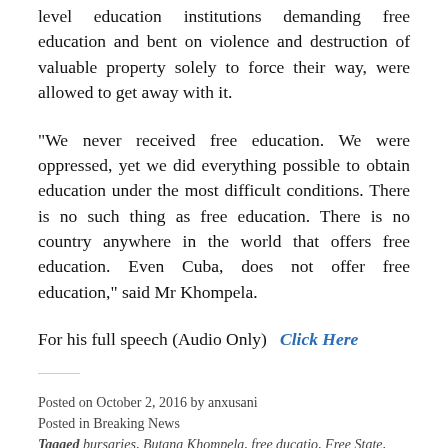level education institutions demanding free education and bent on violence and destruction of valuable property solely to force their way, were allowed to get away with it.
“We never received free education. We were oppressed, yet we did everything possible to obtain education under the most difficult conditions. There is no such thing as free education. There is no country anywhere in the world that offers free education. Even Cuba, does not offer free education,” said Mr Khompela.
For his full speech (Audio Only)  Click Here
Posted on October 2, 2016 by anxusani
Posted in Breaking News
Tagged bursaries, Butana Khompela, free ducatio, Free State,